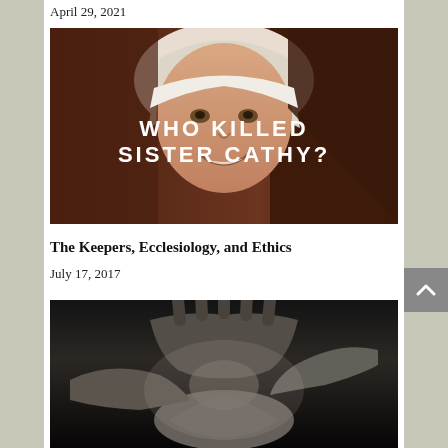April 29, 2021
[Figure (photo): Smiling woman wearing a nun's habit (white coif and dark veil) with white bold text overlay reading 'WHO KILLED SISTER CATHY?']
The Keepers, Ecclesiology, and Ethics
July 17, 2017
[Figure (photo): Black and white close-up photograph of multiple hands coming together in a group gesture]